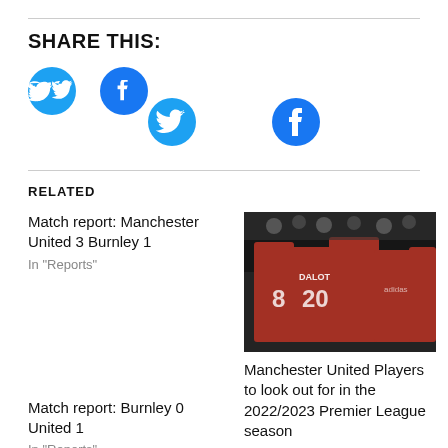SHARE THIS:
[Figure (illustration): Twitter share button - blue circle with white Twitter bird logo]
[Figure (illustration): Facebook share button - blue circle with white Facebook 'f' logo]
RELATED
Match report: Manchester United 3 Burnley 1
In "Reports"
[Figure (photo): Manchester United players in red shirts celebrating, with numbers 8 and 20 (DALOT) visible]
Manchester United Players to look out for in the 2022/2023 Premier League season
In "Opinions"
Match report: Burnley 0 United 1
In "Reports"